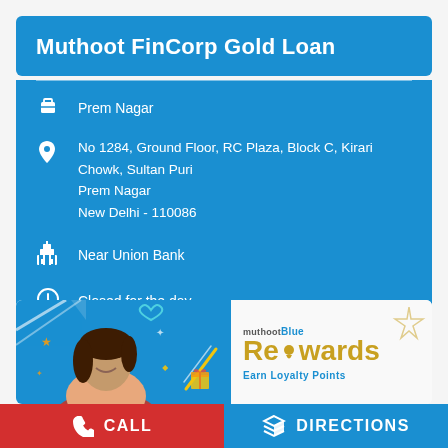Muthoot FinCorp Gold Loan
Prem Nagar
No 1284, Ground Floor, RC Plaza, Block C, Kirari Chowk, Sultan Puri
Prem Nagar
New Delhi - 110086
Near Union Bank
Closed for the day
[Figure (infographic): muthootBlue Rewards promotional banner with a woman smiling and decorative elements. Text says 'Earn Loyalty Points']
CALL
DIRECTIONS